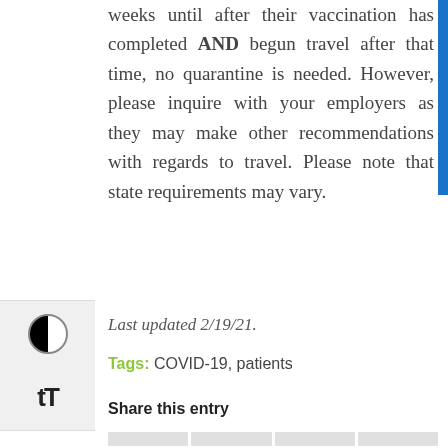weeks until after their vaccination has completed AND begun travel after that time, no quarantine is needed. However, please inquire with your employers as they may make other recommendations with regards to travel. Please note that state requirements may vary.
Last updated 2/19/21.
Tags: COVID-19, patients
Share this entry